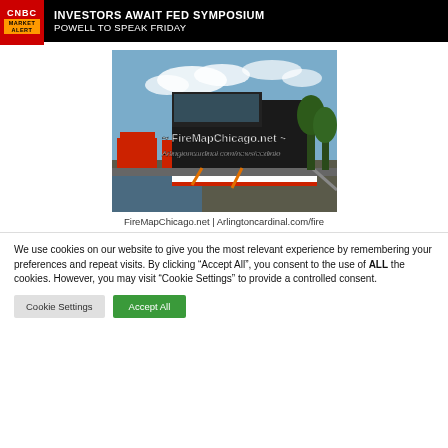[Figure (screenshot): CNBC Market Alert banner: INVESTORS AWAIT FED SYMPOSIUM / POWELL TO SPEAK FRIDAY]
[Figure (photo): A large black fire truck or emergency vehicle on a flatbed trailer, with watermark text FireMapChicago.net ~ and Arlingtoncardinal.com/newsfeedinfo]
FireMapChicago.net | Arlingtoncardinal.com/fire
We use cookies on our website to give you the most relevant experience by remembering your preferences and repeat visits. By clicking “Accept All”, you consent to the use of ALL the cookies. However, you may visit “Cookie Settings” to provide a controlled consent.
Cookie Settings | Accept All